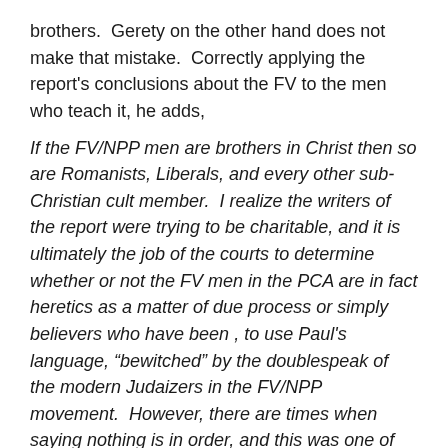brothers.  Gerety on the other hand does not make that mistake.  Correctly applying the report's conclusions about the FV to the men who teach it, he adds,
If the FV/NPP men are brothers in Christ then so are Romanists, Liberals, and every other sub-Christian cult member.  I realize the writers of the report were trying to be charitable, and it is ultimately the job of the courts to determine whether or not the FV men in the PCA are in fact heretics as a matter of due process or simply believers who have been , to use Paul's language, “bewitched” by the doublespeak of the modern Judaizers in the FV/NPP movement.  However, there are times when saying nothing is in order, and this was one of those times.  Identifying even one of these men as “brothers in Christ” is sheer presumption.  If men hold to a qualitatively